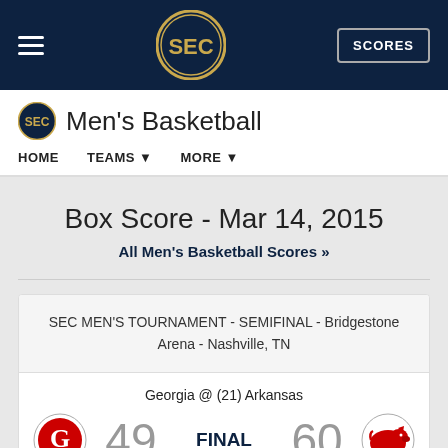SEC Men's Basketball - HOME | TEAMS | MORE
Box Score - Mar 14, 2015
All Men's Basketball Scores »
SEC MEN'S TOURNAMENT - SEMIFINAL - Bridgestone Arena - Nashville, TN
Georgia @ (21) Arkansas
49 FINAL 60
Recap